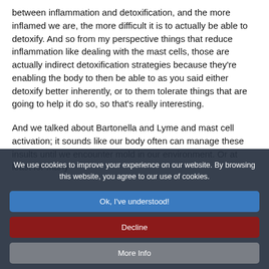between inflammation and detoxification, and the more inflamed we are, the more difficult it is to actually be able to detoxify. And so from my perspective things that reduce inflammation like dealing with the mast cells, those are actually indirect detoxification strategies because they're enabling the body to then be able to as you said either detoxify better inherently, or to them tolerate things that are going to help it do so, so that's really interesting.
And we talked about Bartonella and Lyme and mast cell activation; it sounds like our body often can manage these insults until we encounter mold in our environment. Or at least for many
We use cookies to improve your experience on our website. By browsing this website, you agree to our use of cookies.
Ok, I've understood!
Decline
More Info